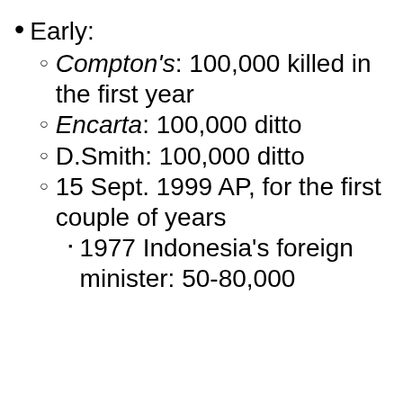Early:
Compton's: 100,000 killed in the first year
Encarta: 100,000 ditto
D.Smith: 100,000 ditto
15 Sept. 1999 AP, for the first couple of years
1977 Indonesia's foreign minister: 50-80,000